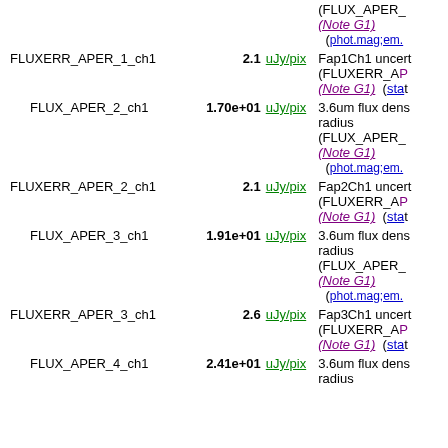| Name | Value | Unit | Description |
| --- | --- | --- | --- |
|  |  | uJy/pix | (FLUX_APER_ (Note G1) (phot.mag;em. |
| FLUXERR_APER_1_ch1 | 2.1 | uJy/pix | Fap1Ch1 uncert (FLUXERR_AP (Note G1) (stat |
| FLUX_APER_2_ch1 | 1.70e+01 | uJy/pix | 3.6um flux dens radius (FLUX_APER_ (Note G1) (phot.mag;em. |
| FLUXERR_APER_2_ch1 | 2.1 | uJy/pix | Fap2Ch1 uncert (FLUXERR_AP (Note G1) (stat |
| FLUX_APER_3_ch1 | 1.91e+01 | uJy/pix | 3.6um flux dens radius (FLUX_APER_ (Note G1) (phot.mag;em. |
| FLUXERR_APER_3_ch1 | 2.6 | uJy/pix | Fap3Ch1 uncert (FLUXERR_AP (Note G1) (stat |
| FLUX_APER_4_ch1 | 2.41e+01 | uJy/pix | 3.6um flux dens radius |